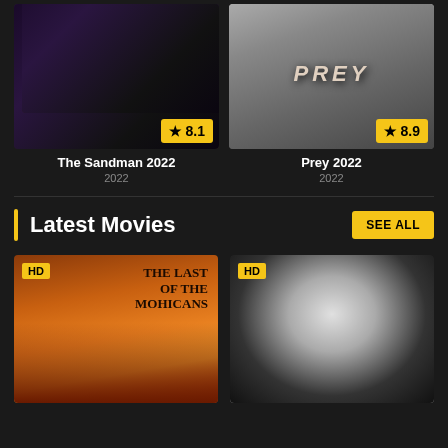[Figure (photo): Movie poster for The Sandman 2022 with rating badge 8.1]
[Figure (photo): Movie poster for Prey 2022 with rating badge 8.9]
The Sandman 2022
2022
Prey 2022
2022
Latest Movies
SEE ALL
[Figure (photo): Movie poster for The Last of the Mohicans with HD badge]
[Figure (photo): Dark movie poster with close-up face and HD badge]